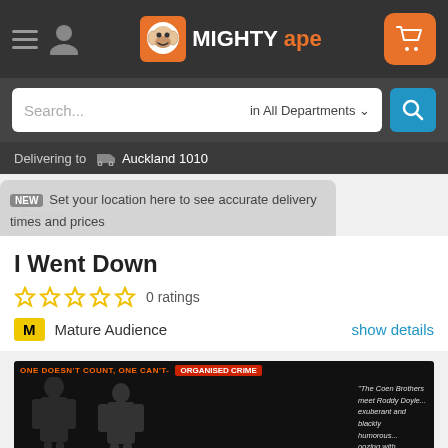[Figure (screenshot): Mighty Ape website header with hamburger menu, user icon, Mighty Ape logo and shopping cart button]
[Figure (screenshot): Search bar with 'Search...' placeholder and 'in All Departments' dropdown and blue search button]
Delivering to  Auckland 1010
NEW  Set your location here to see accurate delivery times and prices
Europe
I Went Down
0 ratings
M  Mature Audience  show details
[Figure (photo): Movie poster for 'I Went Down' showing two men in dark clothing with text 'One doesn't count, one can't - Organised Crime' and a review quote]